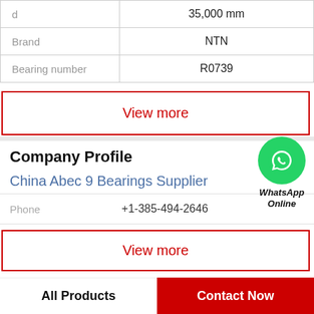| Property | Value |
| --- | --- |
| d | 35,000 mm |
| Brand | NTN |
| Bearing number | R0739 |
View more
[Figure (logo): WhatsApp green circle icon with phone handset graphic, labeled WhatsApp Online in bold italic]
Company Profile
China Abec 9 Bearings Supplier
Phone  +1-385-494-2646
View more
All Products   Contact Now